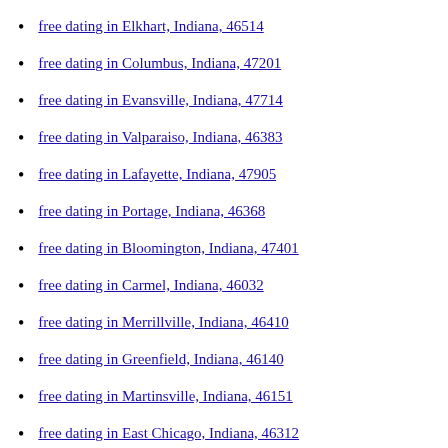free dating in Elkhart, Indiana, 46514
free dating in Columbus, Indiana, 47201
free dating in Evansville, Indiana, 47714
free dating in Valparaiso, Indiana, 46383
free dating in Lafayette, Indiana, 47905
free dating in Portage, Indiana, 46368
free dating in Bloomington, Indiana, 47401
free dating in Carmel, Indiana, 46032
free dating in Merrillville, Indiana, 46410
free dating in Greenfield, Indiana, 46140
free dating in Martinsville, Indiana, 46151
free dating in East Chicago, Indiana, 46312
free dating in Greenwood, Indiana, 46143